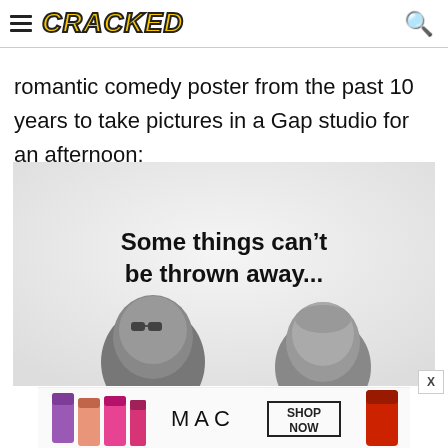CRACKED
romantic comedy poster from the past 10 years to take pictures in a Gap studio for an afternoon:
[Figure (photo): Black and white photo-style image with light gray background. Text reads 'Some things can't be thrown away...' in bold black font. Two people (man with sunglasses on left, another person on right) appear at bottom of image, partially cropped.]
[Figure (photo): MAC cosmetics advertisement banner showing lipsticks, MAC logo, and SHOP NOW button.]